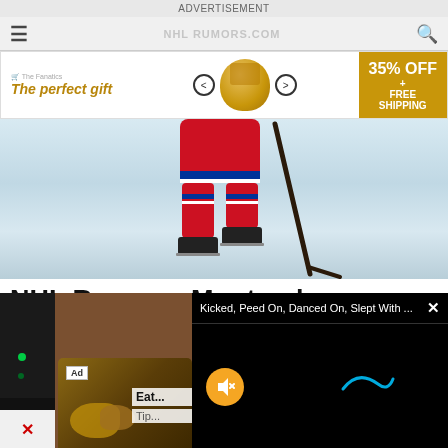ADVERTISEMENT
[Figure (screenshot): Advertisement banner: 'The perfect gift' with product carousel and '35% OFF + FREE SHIPPING' offer]
[Figure (photo): Hockey player (Montreal Canadiens red uniform) on ice, lower body visible with hockey stick]
NHL Rumors: Montreal Canadiens and the Vancouver Canucks
Christian Dvorak only worth a third- or fourth-round pick. Two free agents the Vancouver Canucks could be interested in.
My NHL Trade Rumors
[Figure (screenshot): Floating video player overlay: title bar 'Kicked, Peed On, Danced On, Slept With ...' with close button X, black video area with yellow mute button and blue cursor]
[Figure (photo): Ad thumbnail showing ginger root with 'Ad' badge, text 'Eat...' and 'Tip...']
[Figure (screenshot): Red X close button at bottom left]